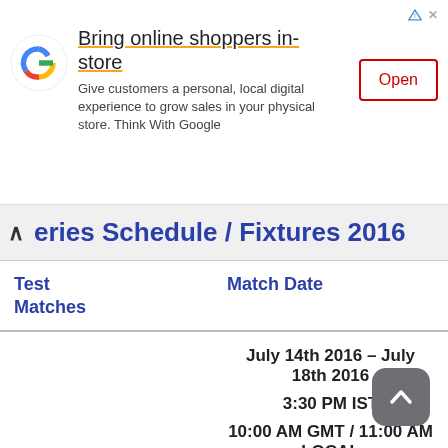[Figure (infographic): Google ad banner: 'Bring online shoppers in-store' with Google logo and Open button]
Series Schedule / Fixtures 2016
| Test Matches | Match Date |
| --- | --- |
|  | July 14th 2016 – July 18th 2016 |
|  | 3:30 PM IST |
|  | 10:00 AM GMT / 11:00 AM LOCAL |
| England vs Pakistan |  |